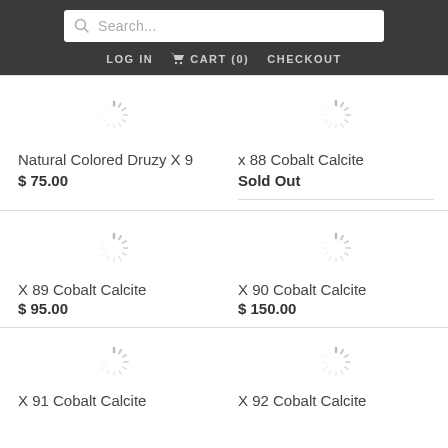Search... | LOG IN | CART (0) | CHECKOUT
[Figure (illustration): Loading spinner icon for Natural Colored Druzy X 9]
Natural Colored Druzy X 9
$ 75.00
[Figure (illustration): Loading spinner icon for x 88 Cobalt Calcite]
x 88 Cobalt Calcite
Sold Out
[Figure (illustration): Loading spinner icon for X 89 Cobalt Calcite]
X 89 Cobalt Calcite
$ 95.00
[Figure (illustration): Loading spinner icon for X 90 Cobalt Calcite]
X 90 Cobalt Calcite
$ 150.00
[Figure (illustration): Loading spinner icon for X 91 Cobalt Calcite]
X 91 Cobalt Calcite
[Figure (illustration): Loading spinner icon for X 92 Cobalt Calcite]
X 92 Cobalt Calcite